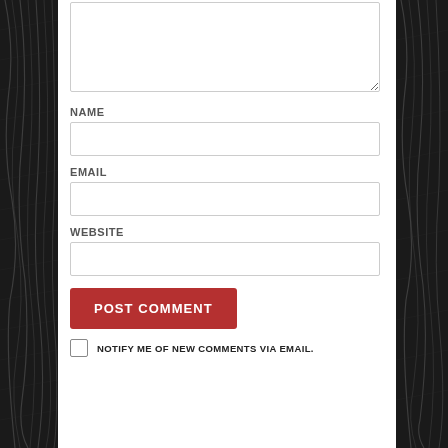[Comment textarea]
NAME
[Name input field]
EMAIL
[Email input field]
WEBSITE
[Website input field]
POST COMMENT
NOTIFY ME OF NEW COMMENTS VIA EMAIL.